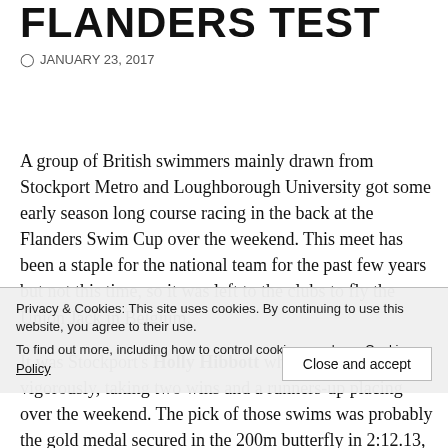FLANDERS TEST
JANUARY 23, 2017
A group of British swimmers mainly drawn from Stockport Metro and Loughborough University got some early season long course racing in the back at the Flanders Swim Cup over the weekend. This meet has been a staple for the national team for the past few years but not this time, so it was left to the clubs to fly the Union Jack in Belgium.
It was Stockport's Holly Hibbott who flew it most vigorously, taking two wins and a runners-up placing over the weekend. The pick of those swims was probably the gold medal secured in the 200m butterfly in 2:12.13, which pushed local swimmer Yasmine Dumont into second and Olympic champion Mireia Belmonte into third place.Indeed Hibbott had the measure of the Spaniard all weekend, beating her also in the 400 freestyle, where she took gold in 4.12.03, and again in the 800 free,
Privacy & Cookies: This site uses cookies. By continuing to use this website, you agree to their use.
To find out more, including how to control cookies, see here: Cookie Policy
Close and accept